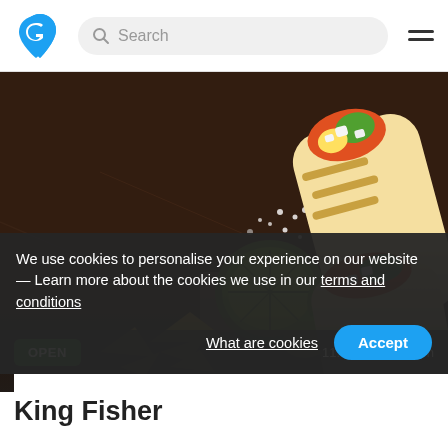Search
[Figure (photo): Food photo showing burritos/wraps with lime wedges, tortilla chips, and salt on a dark rustic surface]
We use cookies to personalise your experience on our website — Learn more about the cookies we use in our terms and conditions
What are cookies
Accept
OPEN
11:00 - 22:45 Open
King Fisher